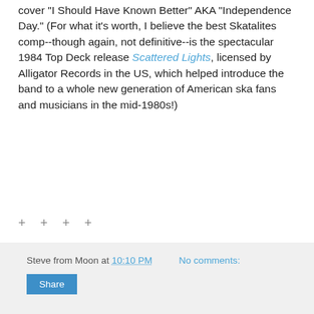cover "I Should Have Known Better" AKA "Independence Day." (For what it's worth, I believe the best Skatalites comp--though again, not definitive--is the spectacular 1984 Top Deck release Scattered Lights, licensed by Alligator Records in the US, which helped introduce the band to a whole new generation of American ska fans and musicians in the mid-1980s!)
+ + + +
Steve from Moon at 10:10 PM   No comments:
Share
‹
Home
›
View web version
Powered by Blogger.